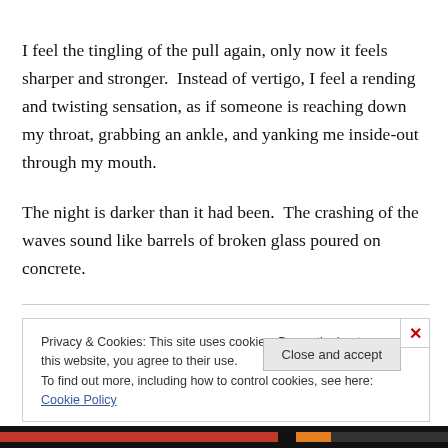I feel the tingling of the pull again, only now it feels sharper and stronger. Instead of vertigo, I feel a rending and twisting sensation, as if someone is reaching down my throat, grabbing an ankle, and yanking me inside-out through my mouth.
The night is darker than it had been. The crashing of the waves sound like barrels of broken glass poured on concrete.
Privacy & Cookies: This site uses cookies. By continuing to use this website, you agree to their use. To find out more, including how to control cookies, see here: Cookie Policy
Close and accept